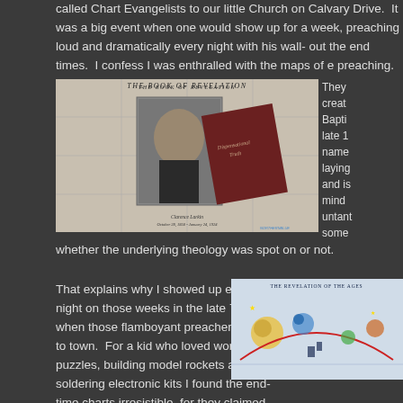called Chart Evangelists to our little Church on Calvary Drive.  It was a big event when one would show up for a week, preaching loud and dramatically every night with his wall-out the end times.  I confess I was enthralled with the maps of e preaching.
[Figure (photo): Photo of Clarence Larkin with his book 'Dispensational Truth' overlaid on a chart of The Book of Revelation. Caption reads 'Clarence Larkin October 28, 1850 - January 24, 1924'.]
They created Bapti late 1 name laying and is mind untant some whether the underlying theology was spot on or not.
[Figure (photo): Colorful chart titled 'The Revelation of the Ages' showing end-times dispensational timeline with symbols, moons, and figures.]
That explains why I showed up every night on those weeks in the late 70's when those flamboyant preachers came to town.  For a kid who loved working puzzles, building model rockets and soldering electronic kits I found the end-time charts irresistible, for they claimed to be the key to understanding future events from...